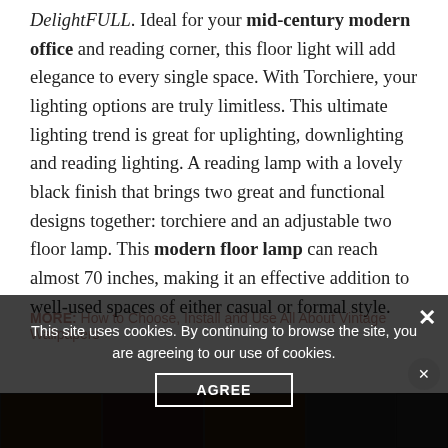DelightFULL. Ideal for your mid-century modern office and reading corner, this floor light will add elegance to every single space. With Torchiere, your lighting options are truly limitless. This ultimate lighting trend is great for uplighting, downlighting and reading lighting. A reading lamp with a lovely black finish that brings two great and functional designs together: torchiere and an adjustable two floor lamp. This modern floor lamp can reach almost 70 inches, making it an effective addition to well-used spaces of either casual or formal style.
[Figure (screenshot): Cookie consent modal overlay on a dark background with text: 'This site uses cookies. By continuing to browse the site, you are agreeing to our use of cookies.' with an AGREE button. A close (X) button in the top right. Behind the overlay partially visible text reading 'MORE:' followed by partially obscured link text about Vintage Wallpapers. A strip of image thumbnails visible at the bottom.]